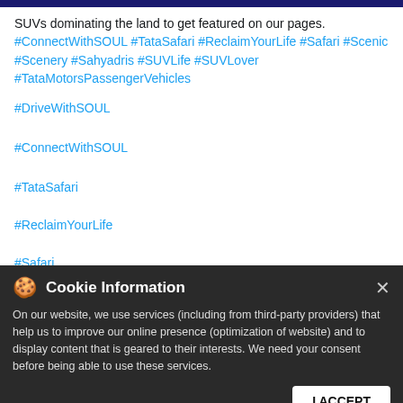SUVs dominating the land to get featured on our pages. #ConnectWithSOUL #TataSafari #ReclaimYourLife #Safari #Scenic #Scenery #Sahyadris #SUVLife #SUVLover #TataMotorsPassengerVehicles
#DriveWithSOUL
#ConnectWithSOUL
#TataSafari
#ReclaimYourLife
#Safari
#Scenic
Cookie Information
On our website, we use services (including from third-party providers) that help us to improve our online presence (optimization of website) and to display content that is geared to their interests. We need your consent before being able to use these services.
Posted On: 30 Aug 2022 7:00 PM